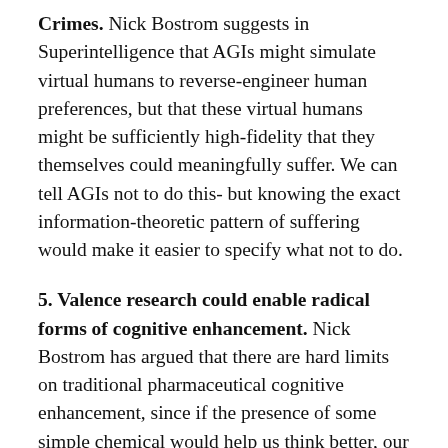Crimes. Nick Bostrom suggests in Superintelligence that AGIs might simulate virtual humans to reverse-engineer human preferences, but that these virtual humans might be sufficiently high-fidelity that they themselves could meaningfully suffer. We can tell AGIs not to do this- but knowing the exact information-theoretic pattern of suffering would make it easier to specify what not to do.
5. Valence research could enable radical forms of cognitive enhancement. Nick Bostrom has argued that there are hard limits on traditional pharmaceutical cognitive enhancement, since if the presence of some simple chemical would help us think better, our brains would probably already be producing it. On the other hand, there seem to be fewer a priori limits on motivational or emotional